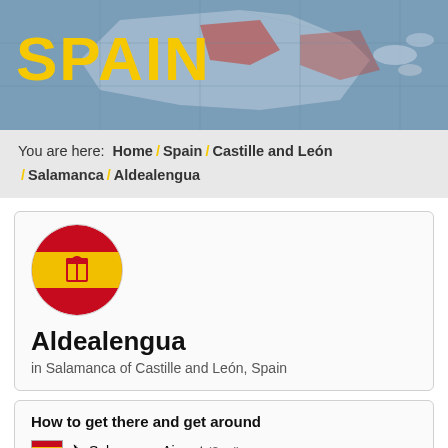[Figure (map): Spain map header banner with yellow SPAIN title text on a blue-grey map background]
You are here: Home / Spain / Castille and León / Salamanca / Aldealengua
[Figure (illustration): Circular Spanish flag icon]
Aldealengua
in Salamanca of Castille and León, Spain
How to get there and get around
Salamanca Airport (3 mi)
Valladolid Airport (62 mi)
Braganca Airport (85 mi)
Madrid Barajas International Airport (109 mi)